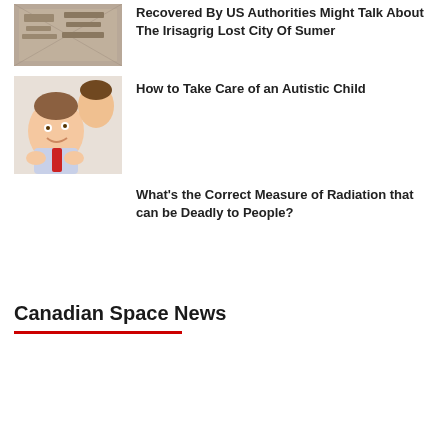[Figure (photo): Thumbnail of ancient clay tablets or stone artifacts]
Recovered By US Authorities Might Talk About The Irisagrig Lost City Of Sumer
[Figure (photo): Photo of a woman kissing a child with Down syndrome wearing a red tie]
How to Take Care of an Autistic Child
What's the Correct Measure of Radiation that can be Deadly to People?
Canadian Space News